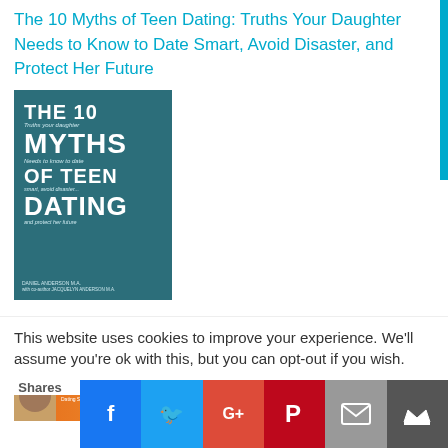The 10 Myths of Teen Dating: Truths Your Daughter Needs to Know to Date Smart, Avoid Disaster, and Protect Her Future
[Figure (illustration): Book cover of 'The 10 Myths of Teen Dating' with dark teal background and bold white typography]
Dating Smarts – What Every Teen Needs To Date, Relate Or Wait
[Figure (illustration): Book cover of 'Dating Smarts' with author photo and orange gradient design]
This website uses cookies to improve your experience. We'll assume you're ok with this, but you can opt-out if you wish.
Shares | Facebook | Twitter | Google+ | Pinterest | Email | Crown